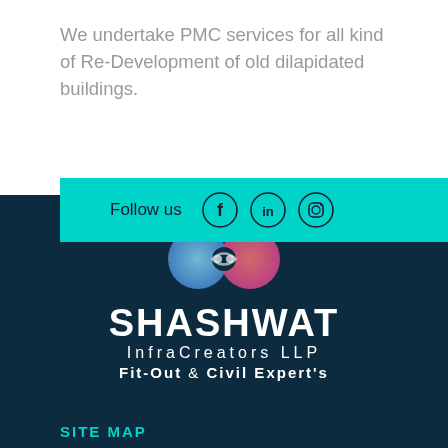We undertake PMC services for all kind of Re-Development of old dilapidated buildings.
Follow us
[Figure (logo): Shashwat InfraCreators LLP logo with infinity-style icon in blue and pink, company name SHASHWAT InfraCreators LLP Fit-Out & Civil Expert's on dark navy background]
SITE MAP